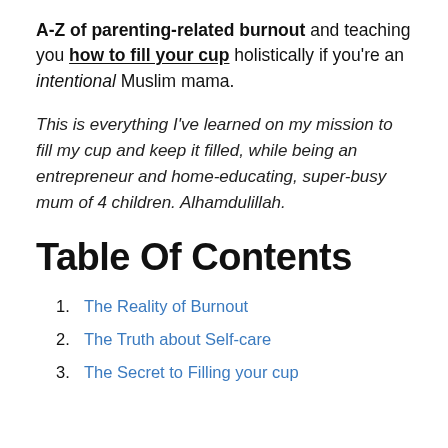A-Z of parenting-related burnout and teaching you how to fill your cup holistically if you're an intentional Muslim mama.
This is everything I've learned on my mission to fill my cup and keep it filled, while being an entrepreneur and home-educating, super-busy mum of 4 children. Alhamdulillah.
Table Of Contents
1. The Reality of Burnout
2. The Truth about Self-care
3. The Secret to Filling your cup